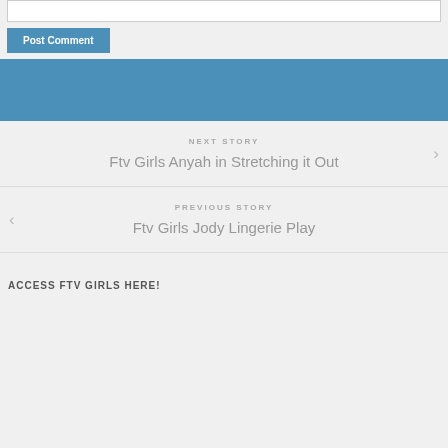Post Comment
[Figure (other): Blue banner/header bar]
NEXT STORY
Ftv Girls Anyah in Stretching it Out
PREVIOUS STORY
Ftv Girls Jody Lingerie Play
ACCESS FTV GIRLS HERE!